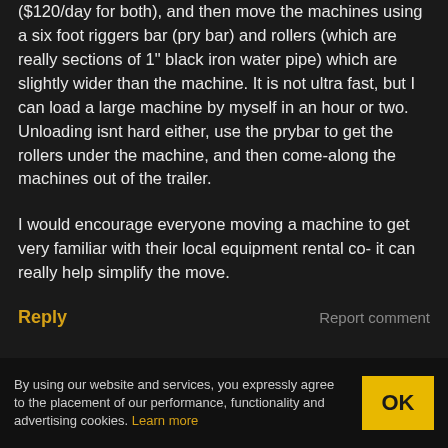($120/day for both), and then move the machines using a six foot riggers bar (pry bar) and rollers (which are really sections of 1" black iron water pipe) which are slightly wider than the machine. It is not ultra fast, but I can load a large machine by myself in an hour or two. Unloading isnt hard either, use the prybar to get the rollers under the machine, and then come-along the machines out of the trailer.
I would encourage everyone moving a machine to get very familiar with their local equipment rental co- it can really help simplify the move.
Reply   Report comment
herbert says:
By using our website and services, you expressly agree to the placement of our performance, functionality and advertising cookies. Learn more